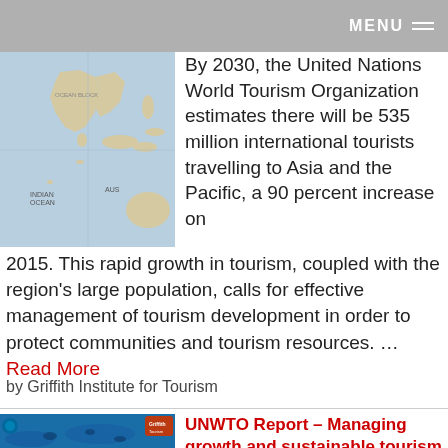MENU
[Figure (map): Map of Asia and the Pacific region showing ocean areas including Indian Ocean]
By 2030, the United Nations World Tourism Organization estimates there will be 535 million international tourists travelling to Asia and the Pacific, a 90 percent increase on 2015. This rapid growth in tourism, coupled with the region's large population, calls for effective management of tourism development in order to protect communities and tourism resources. … Read More
by Griffith Institute for Tourism
[Figure (photo): Blue ocean underwater photo with fish silhouettes, featuring Griffith Tourism logo]
UNWTO Report – Managing growth and sustainable tourism governance in Asia and the Pacific